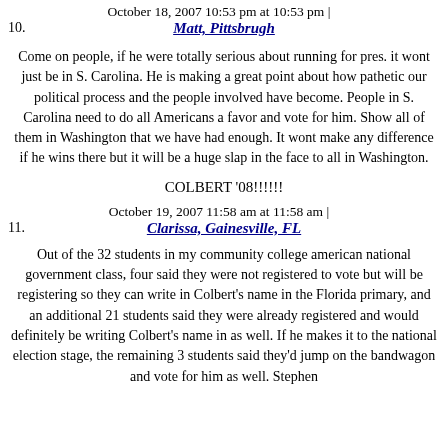October 18, 2007 10:53 pm at 10:53 pm |
10. Matt, Pittsbrugh
Come on people, if he were totally serious about running for pres. it wont just be in S. Carolina. He is making a great point about how pathetic our political process and the people involved have become. People in S. Carolina need to do all Americans a favor and vote for him. Show all of them in Washington that we have had enough. It wont make any difference if he wins there but it will be a huge slap in the face to all in Washington.

COLBERT '08!!!!!!
October 19, 2007 11:58 am at 11:58 am |
11. Clarissa, Gainesville, FL
Out of the 32 students in my community college american national government class, four said they were not registered to vote but will be registering so they can write in Colbert's name in the Florida primary, and an additional 21 students said they were already registered and would definitely be writing Colbert's name in as well. If he makes it to the national election stage, the remaining 3 students said they'd jump on the bandwagon and vote for him as well. Stephen